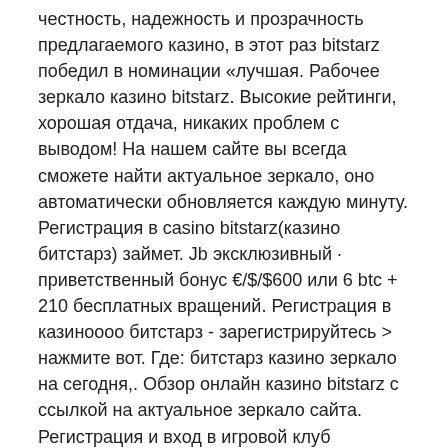честность, надежность и прозрачность предлагаемого казино, в этот раз bitstarz победил в номинации «лучшая. Рабочее зеркало казино bitstarz. Высокие рейтинги, хорошая отдача, никаких проблем с выводом! На нашем сайте вы всегда сможете найти актуальное зеркало, оно автоматически обновляется каждую минуту. Регистрация в casino bitstarz(казино битстарз) займет. Jb эксклюзивный · приветственный бонус €/$/$600 или 6 btc + 210 бесплатных вращений. [garbled text] &gt; [garbled text]. [garbled text]: битстарз казино зеркало на сегодня,. Обзор онлайн казино bitstarz с ссылкой на актуальное зеркало сайта. Регистрация и вход в игровой клуб битстарз; anchor. Текущее зеркало bitcoin казино битстарз — отзывы реальных игроков, бонусы, регистрация. Онлайн казино bitstarz – онлайн слоты от известных брендов. Плей фортуна бонус